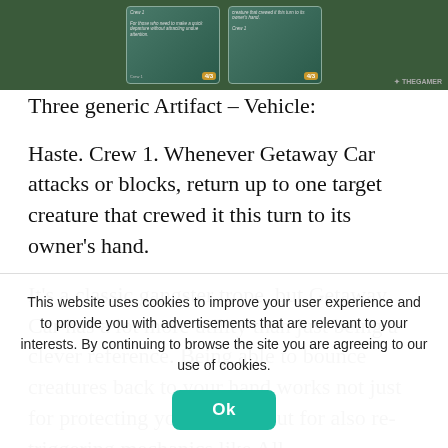[Figure (photo): Screenshot of two Magic: The Gathering 'Getaway Car' vehicle cards side by side on a green background, with THEGAMER watermark in bottom right]
Three generic Artifact – Vehicle:
Haste. Crew 1. Whenever Getaway Car attacks or blocks, return up to one target creature that crewed it this turn to its owner's hand.
It's a classic gangster trope, but Getaway Car has a lot more utility than just being a clever reference. Being able to bounce creatures back to your hand works not just for protecting your pieces, but for also re-triggering mechanics like Ally and...
This website uses cookies to improve your user experience and to provide you with advertisements that are relevant to your interests. By continuing to browse the site you are agreeing to our use of cookies.